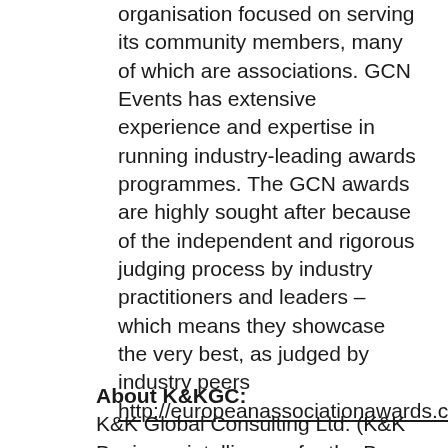organisation focused on serving its community members, many of which are associations. GCN Events has extensive experience and expertise in running industry-leading awards programmes. The GCN awards are highly sought after because of the independent and rigorous judging process by industry practitioners and leaders – which means they showcase the very best, as judged by industry peers http://europeanassociationawards.com/finalists/
About K&KGC:
K&K Global Consulting Ltd. (K&K…
Business intelligence for the Buy-s…
Since 2010, we are a unique Buy-side